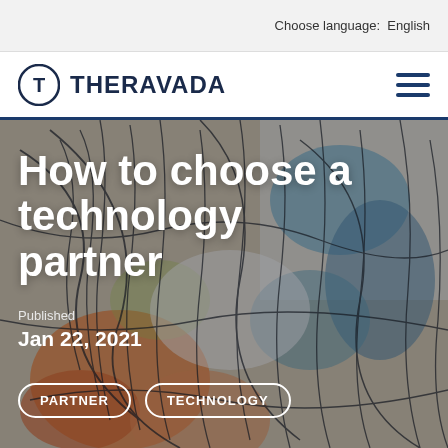Choose language:  English
[Figure (logo): Theravada logo with circular T icon and bold THERAVADA text, with hamburger menu icon on the right]
[Figure (illustration): Abstract colorful artwork with dark sketch-like lines over orange, blue, teal and white paint strokes, used as hero image background]
How to choose a technology partner
Published
Jan 22, 2021
PARTNER
TECHNOLOGY